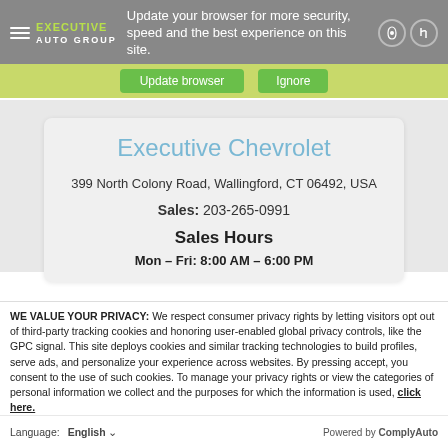Update your browser for more security, speed and the best experience on this site. Update browser | Ignore
Executive Chevrolet
399 North Colony Road, Wallingford, CT 06492, USA
Sales: 203-265-0991
Sales Hours
Mon – Fri: 8:00 AM – 6:00 PM
WE VALUE YOUR PRIVACY: We respect consumer privacy rights by letting visitors opt out of third-party tracking cookies and honoring user-enabled global privacy controls, like the GPC signal. This site deploys cookies and similar tracking technologies to build profiles, serve ads, and personalize your experience across websites. By pressing accept, you consent to the use of such cookies. To manage your privacy rights or view the categories of personal information we collect and the purposes for which the information is used, click here.
Language: English   Powered by ComplyAuto